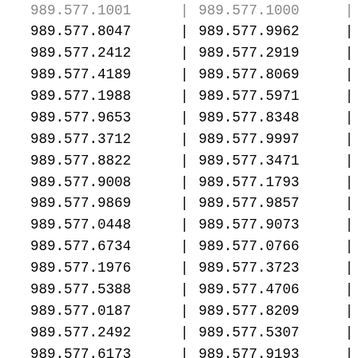| Col1 | Col2 |
| --- | --- |
| 989.577.8047 | 989.577.9962 |
| 989.577.2412 | 989.577.2919 |
| 989.577.4189 | 989.577.8069 |
| 989.577.1988 | 989.577.5971 |
| 989.577.9653 | 989.577.8348 |
| 989.577.3712 | 989.577.9997 |
| 989.577.8822 | 989.577.3471 |
| 989.577.9008 | 989.577.1793 |
| 989.577.9869 | 989.577.9857 |
| 989.577.0448 | 989.577.9073 |
| 989.577.6734 | 989.577.0766 |
| 989.577.1976 | 989.577.3723 |
| 989.577.5388 | 989.577.4706 |
| 989.577.0187 | 989.577.8209 |
| 989.577.2492 | 989.577.5307 |
| 989.577.6173 | 989.577.9193 |
| 989.577.2985 | 989.577.8467 |
| 989.577.7871 | 989.577.7556 |